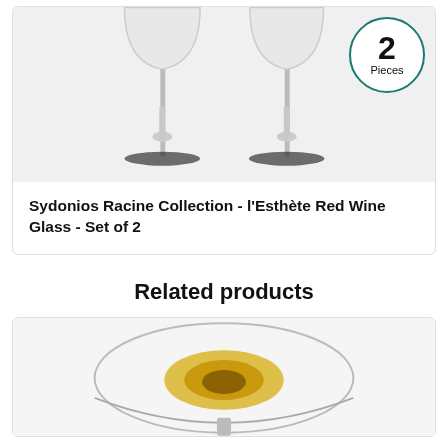[Figure (photo): Two clear wine glasses side by side on a light grey background, showing the bases and stems. A circular badge in the top right corner reads '2 Pieces' with a teal/green border.]
Sydonios Racine Collection - l'Esthète Red Wine Glass - Set of 2
Related products
[Figure (photo): Close-up of the base and lower bowl of a wine glass, showing a gold/yellow reflective element inside the thick rounded base, on a white background.]